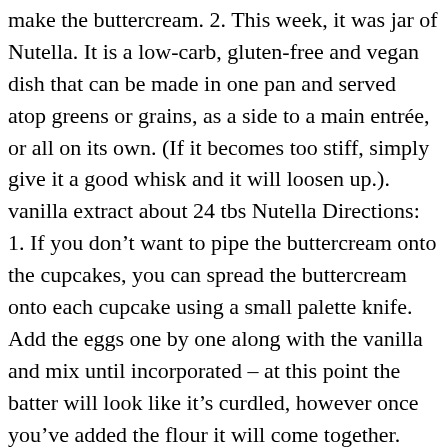make the buttercream. 2. This week, it was jar of Nutella. It is a low-carb, gluten-free and vegan dish that can be made in one pan and served atop greens or grains, as a side to a main entrée, or all on its own. (If it becomes too stiff, simply give it a good whisk and it will loosen up.). vanilla extract about 24 tbs Nutella Directions: 1. If you don't want to pipe the buttercream onto the cupcakes, you can spread the buttercream onto each cupcake using a small palette knife. Add the eggs one by one along with the vanilla and mix until incorporated – at this point the batter will look like it's curdled, however once you've added the flour it will come together. Add the sifted icing sugar and the vanilla extract and beat gently together until the butter and sugar has combined. Using a rubber spatula, gently stir the mixture from the center outward until smooth.